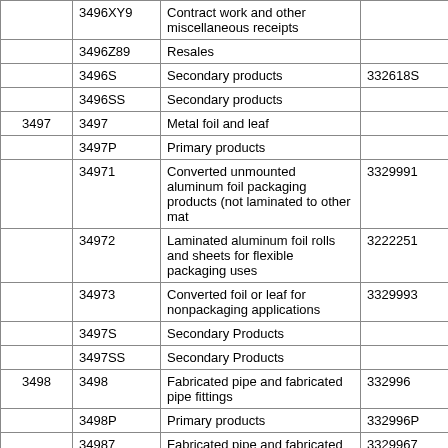|  |  |  |  |
| --- | --- | --- | --- |
|  | 3496XY9 | Contract work and other miscellaneous receipts |  |
|  | 3496Z89 | Resales |  |
|  | 3496S | Secondary products | 332618S |
|  | 3496SS | Secondary products |  |
| 3497 | 3497 | Metal foil and leaf |  |
|  | 3497P | Primary products |  |
|  | 34971 | Converted unmounted aluminum foil packaging products (not laminated to other mat | 3329991 |
|  | 34972 | Laminated aluminum foil rolls and sheets for flexible packaging uses | 3222251 |
|  | 34973 | Converted foil or leaf for nonpackaging applications | 3329993 |
|  | 3497S | Secondary Products |  |
|  | 3497SS | Secondary Products |  |
| 3498 | 3498 | Fabricated pipe and fabricated pipe fittings | 332996 |
|  | 3498P | Primary products | 332996P |
|  | 34987 | Fabricated pipe and fabricated pipe fittings | 3329967 |